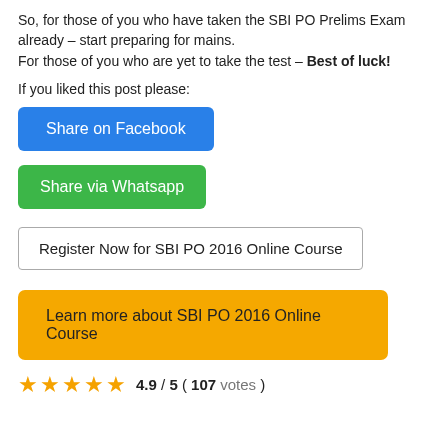So, for those of you who have taken the SBI PO Prelims Exam already – start preparing for mains.
For those of you who are yet to take the test – Best of luck!
If you liked this post please:
[Figure (other): Blue button: Share on Facebook]
[Figure (other): Green button: Share via Whatsapp]
[Figure (other): White outlined button: Register Now for SBI PO 2016 Online Course]
[Figure (other): Yellow button: Learn more about SBI PO 2016 Online Course]
4.9 / 5 ( 107 votes )